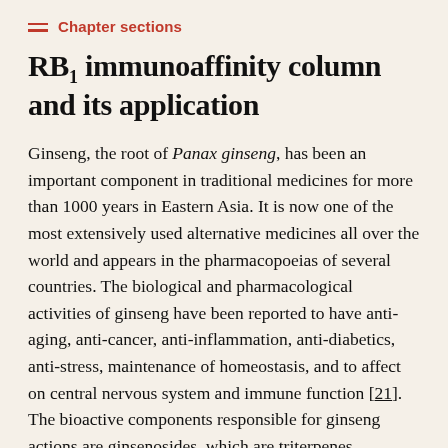Chapter sections
RB1 immunoaffinity column and its application
Ginseng, the root of Panax ginseng, has been an important component in traditional medicines for more than 1000 years in Eastern Asia. It is now one of the most extensively used alternative medicines all over the world and appears in the pharmacopoeias of several countries. The biological and pharmacological activities of ginseng have been reported to have anti-aging, anti-cancer, anti-inflammation, anti-diabetics, anti-stress, maintenance of homeostasis, and to affect on central nervous system and immune function [21]. The bioactive components responsible for ginseng actions are ginsenosides, which are triterpenes